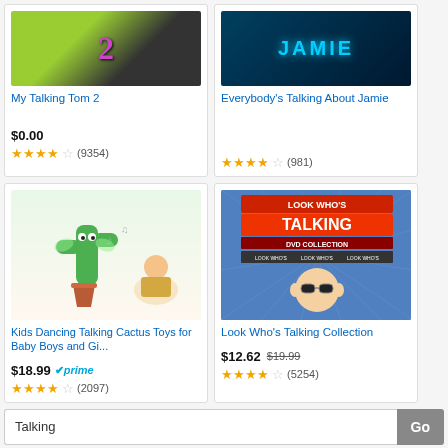[Figure (screenshot): Product image for My Talking Tom 2 app - green background with cartoon cat and number 2]
My Talking Tom 2
$0.00
(9354)
[Figure (screenshot): Movie poster for Everybody's Talking About Jamie - dark background with JAMIE text]
Everybody's Talking About Jamie
(981)
[Figure (photo): Kids Dancing Talking Cactus toy product image - green cactus toy with child]
Kids Dancing Talking Cactus Toys for Baby Boys and Gi...
$18.99
(2097)
[Figure (photo): Look Who's Talking DVD Collection box art - baby with sunglasses on blue striped background]
Look Who's Talking Collection
$12.62
$19.99
(5254)
Talking
Facebook | Twitter | Email | Pinterest | More